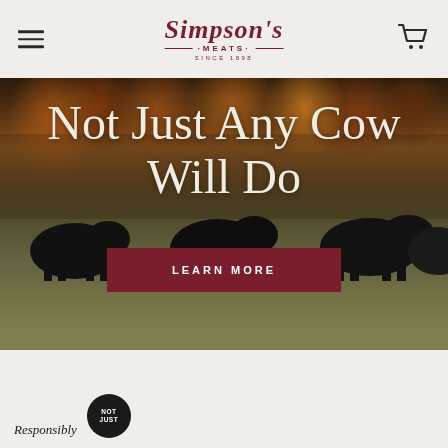Simpson's Meats · Since 1898
[Figure (photo): Hero image of black cattle grazing in a frost-covered field with autumn trees in the background]
Not Just Any Cow Will Do
LEARN MORE
Responsibly